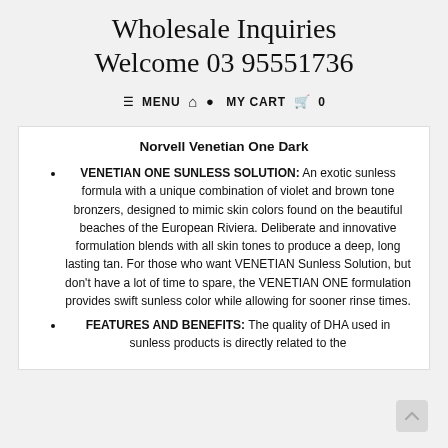Wholesale Inquiries Welcome 03 95551736
≡ MENU  🏠  👤  MY CART  🛒  0
Norvell Venetian One Dark
VENETIAN ONE SUNLESS SOLUTION: An exotic sunless formula with a unique combination of violet and brown tone bronzers, designed to mimic skin colors found on the beautiful beaches of the European Riviera. Deliberate and innovative formulation blends with all skin tones to produce a deep, long lasting tan. For those who want VENETIAN Sunless Solution, but don't have a lot of time to spare, the VENETIAN ONE formulation provides swift sunless color while allowing for sooner rinse times.
FEATURES AND BENEFITS: The quality of DHA used in sunless products is directly related to the